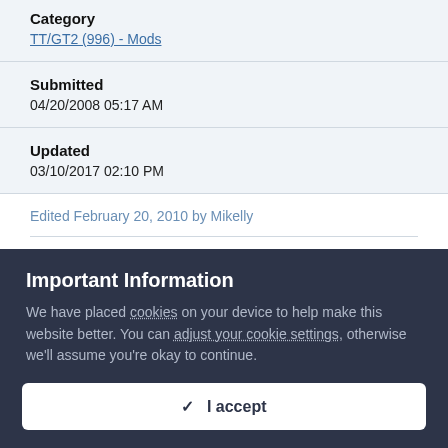Category
TT/GT2 (996) - Mods
Submitted
04/20/2008 05:17 AM
Updated
03/10/2017 02:10 PM
Edited February 20, 2010 by Mikelly
Important Information
We have placed cookies on your device to help make this website better. You can adjust your cookie settings, otherwise we'll assume you're okay to continue.
✓  I accept